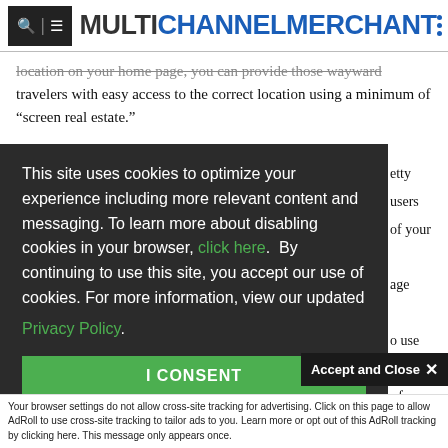MULTICHANNEL MERCHANT
location on your home page, you can provide those wayward travelers with easy access to the correct location using a minimum of “screen real estate.”
This site uses cookies to optimize your experience including more relevant content and messaging. To learn more about disabling cookies in your browser, click here.  By continuing to use this site, you accept our use of cookies. For more information, view our updated Privacy Policy.
I CONSENT
Accept and Close ×
Your browser settings do not allow cross-site tracking for advertising. Click on this page to allow AdRoll to use cross-site tracking to tailor ads to you. Learn more or opt out of this AdRoll tracking by clicking here. This message only appears once.